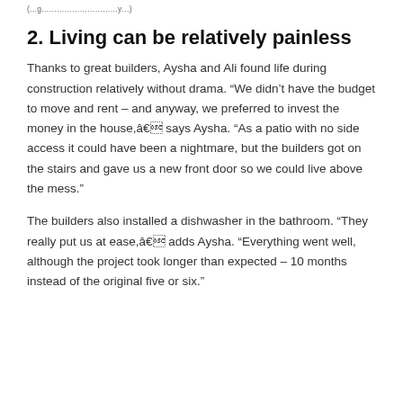(…g…………………………y…)
2. Living can be relatively painless
Thanks to great builders, Aysha and Ali found life during construction relatively without drama. “We didn’t have the budget to move and rent – and anyway, we preferred to invest the money in the house,â€ says Aysha. “As a patio with no side access it could have been a nightmare, but the builders got on the stairs and gave us a new front door so we could live above the mess.”
The builders also installed a dishwasher in the bathroom. “They really put us at ease,â€ adds Aysha. “Everything went well, although the project took longer than expected – 10 months instead of the original five or six.”